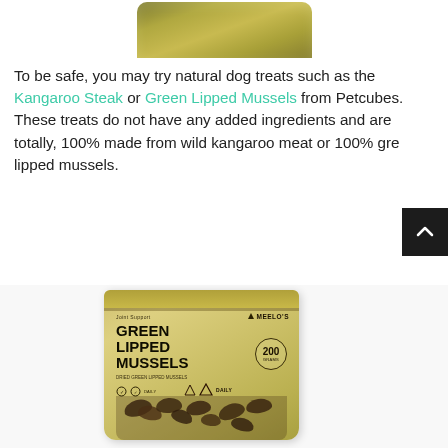[Figure (photo): Top portion of a golden/olive colored product bag, cropped showing only the upper section]
To be safe, you may try natural dog treats such as the Kangaroo Steak or Green Lipped Mussels from Petcubes. These treats do not have any added ingredients and are totally, 100% made from wild kangaroo meat or 100% green lipped mussels.
[Figure (photo): Product package of Meelo's Green Lipped Mussels dog treats - a kraft paper standup pouch with visible mussels through a clear window at the bottom. Text shows Joint Support, Green Lipped Mussels, 200g.]